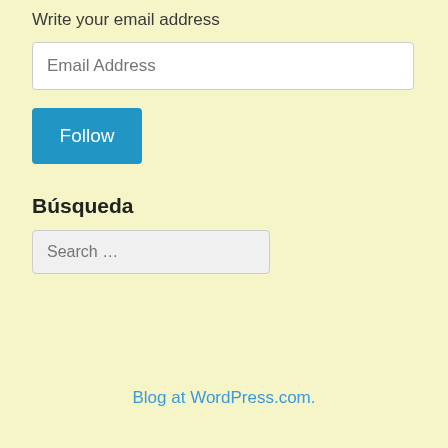Write your email address
[Figure (screenshot): Email address input field with placeholder text 'Email Address']
[Figure (screenshot): Blue Follow button]
Búsqueda
[Figure (screenshot): Search input field with placeholder text 'Search …']
Blog at WordPress.com.